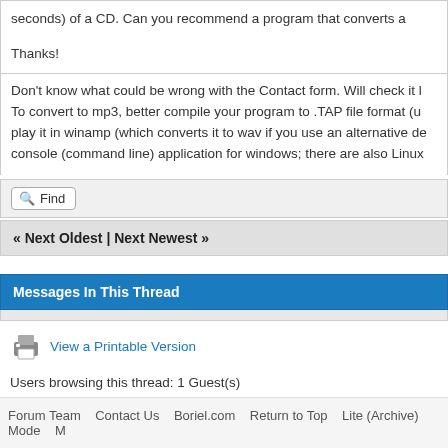seconds) of a CD. Can you recommend a program that converts a

Thanks!
Don't know what could be wrong with the Contact form. Will check it later. To convert to mp3, better compile your program to .TAP file format (u... play it in winamp (which converts it to wav if you use an alternative de... console (command line) application for windows; there are also Linux...
Find
« Next Oldest | Next Newest »
Messages In This Thread
View a Printable Version
Users browsing this thread: 1 Guest(s)
Forum Team   Contact Us   Boriel.com   Return to Top   Lite (Archive) Mode   M...